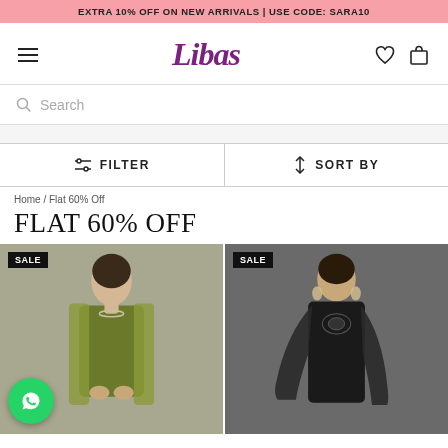EXTRA 10% OFF ON NEW ARRIVALS | USE CODE: SARA10
[Figure (logo): Libas fashion brand logo in purple italic serif font, with hamburger menu icon on left and heart/cart icons on right]
Search
FILTER   SORT BY
Home / Flat 60% Off
FLAT 60% OFF
[Figure (photo): Two product photos side by side with SALE badges. Left: woman wearing olive green kurta with dupatta on grey background. Right: woman wearing black sharara set with embroidery and dupatta on grey background. WhatsApp chat button in bottom-left corner.]